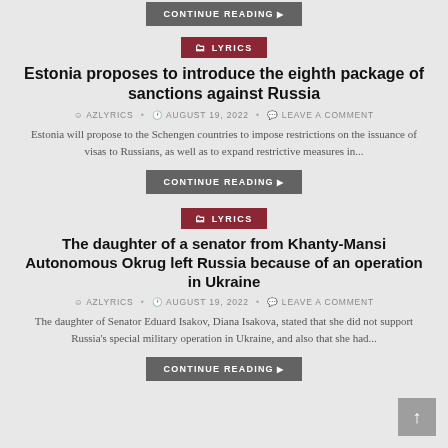CONTINUE READING
LYRICS
Estonia proposes to introduce the eighth package of sanctions against Russia
AZLYRICS • AUGUST 19, 2022 • LEAVE A COMMENT
Estonia will propose to the Schengen countries to impose restrictions on the issuance of visas to Russians, as well as to expand restrictive measures in...
CONTINUE READING
LYRICS
The daughter of a senator from Khanty-Mansi Autonomous Okrug left Russia because of an operation in Ukraine
AZLYRICS • AUGUST 19, 2022 • LEAVE A COMMENT
The daughter of Senator Eduard Isakov, Diana Isakova, stated that she did not support Russia's special military operation in Ukraine, and also that she had...
CONTINUE READING